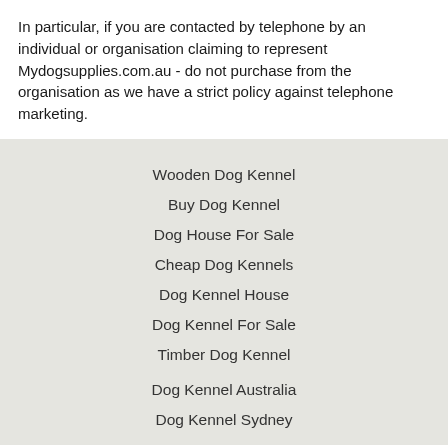In particular, if you are contacted by telephone by an individual or organisation claiming to represent Mydogsupplies.com.au - do not purchase from the organisation as we have a strict policy against telephone marketing.
Wooden Dog Kennel
Buy Dog Kennel
Dog House For Sale
Cheap Dog Kennels
Dog Kennel House
Dog Kennel For Sale
Timber Dog Kennel
Dog Kennel Australia
Dog Kennel Sydney